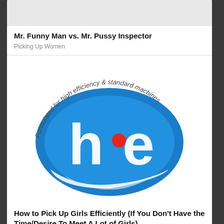Mr. Funny Man vs. Mr. Pussy Inspector
Picking Up Women
[Figure (logo): HE (high efficiency) laundry detergent logo — blue oval with white 'he' letters and a red dot, with curved text reading 'Formulated for high efficiency & standard machines' arcing around the top]
How to Pick Up Girls Efficiently (If You Don't Have the Time/Desire To Meet A Lot of Girls)
Picking Up Women